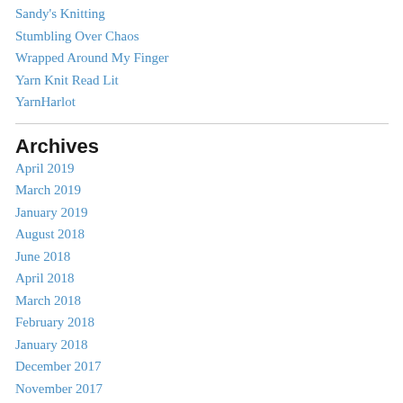Sandy's Knitting
Stumbling Over Chaos
Wrapped Around My Finger
Yarn Knit Read Lit
YarnHarlot
Archives
April 2019
March 2019
January 2019
August 2018
June 2018
April 2018
March 2018
February 2018
January 2018
December 2017
November 2017